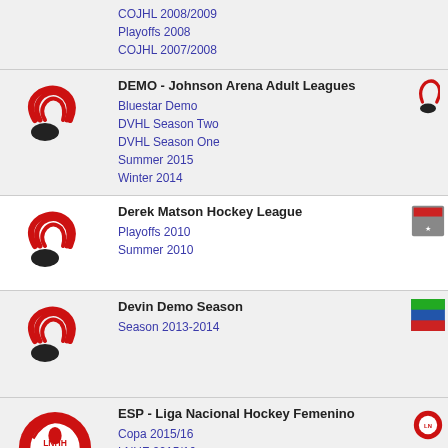COJHL 2008/2009
Playoffs 2008
COJHL 2007/2008
DEMO - Johnson Arena Adult Leagues
Bluestar Demo
DVHL Season Two
DVHL Season One
Summer 2015
Winter 2014
Derek Matson Hockey League
Playoffs 2010
Summer 2010
Devin Demo Season
Season 2013-2014
ESP - Liga Nacional Hockey Femenino
Copa 2015/16
LNHF 2015/16
Copa 2014/15
LNHF 2014/15
Copa 2013/14
LNHF 2013/14
Copa 2012/13
LNHF 2012/13
Copa 2011/12
LNHF 2011/12